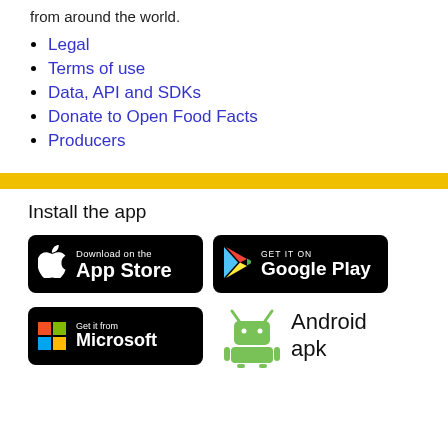from around the world.
Legal
Terms of use
Data, API and SDKs
Donate to Open Food Facts
Producers
Install the app
[Figure (logo): Download on the App Store badge]
[Figure (logo): Get it on Google Play badge]
[Figure (logo): Get it from Microsoft badge]
[Figure (logo): Android apk badge with Android robot icon]